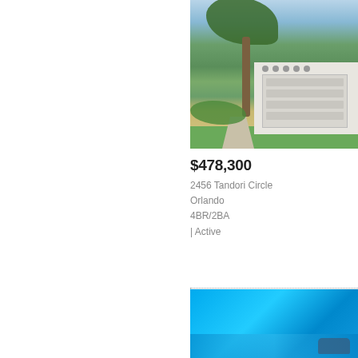[Figure (photo): Exterior photo of a single-story Florida house with a two-car garage, palm tree, green lawn, and clear blue sky in the background.]
$478,300
2456 Tandori Circle
Orlando
4BR/2BA
| Active
[Figure (photo): Partial photo showing a bright blue swimming pool or water feature.]